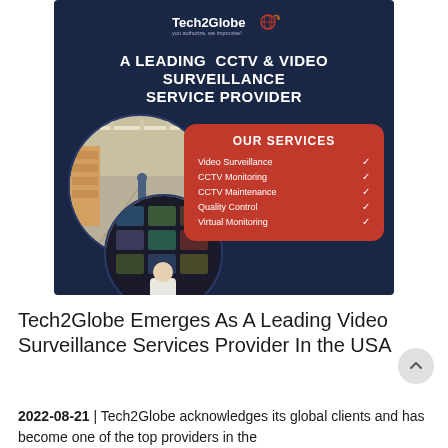[Figure (infographic): Tech2Globe promotional banner on dark navy background. Logo at top center. Bold headline: 'A LEADING CCTV & VIDEO SURVEILLANCE SERVICE PROVIDER'. Two circular images: warehouse interior and security monitor room. Red rounded rectangle with 'OUR SERVICES' listing: Video Surveillance, CCTV Monitoring, CCTV Maintenance, Quality Control, Virtual Monitoring — each with a checkmark. Website URL bottom right.]
Tech2Globe Emerges As A Leading Video Surveillance Services Provider In the USA
2022-08-21 | Tech2Globe acknowledges its global clients and has become one of the top providers in the